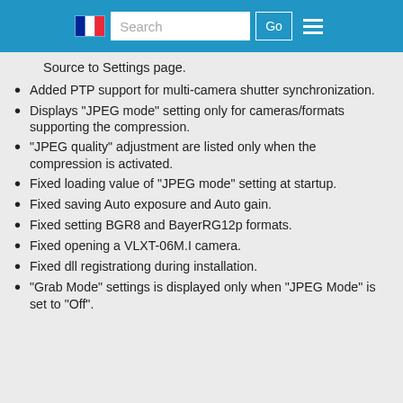Search | Go
Source to Settings page.
Added PTP support for multi-camera shutter synchronization.
Displays "JPEG mode" setting only for cameras/formats supporting the compression.
"JPEG quality" adjustment are listed only when the compression is activated.
Fixed loading value of "JPEG mode" setting at startup.
Fixed saving Auto exposure and Auto gain.
Fixed setting BGR8 and BayerRG12p formats.
Fixed opening a VLXT-06M.I camera.
Fixed dll registrationg during installation.
"Grab Mode" settings is displayed only when "JPEG Mode" is set to "Off".